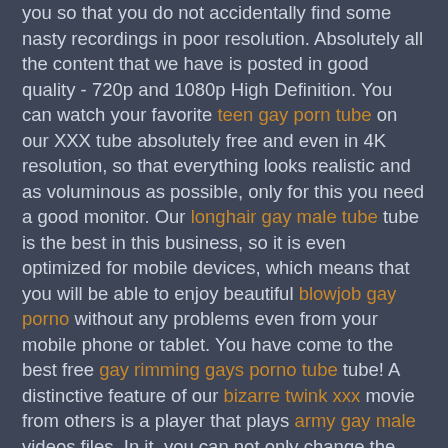you so that you do not accidentally find some nasty recordings in poor resolution. Absolutely all the content that we have is posted in good quality - 720p and 1080p High Definition. You can watch your favorite teen gay porn tube on our XXX tube absolutely free and even in 4K resolution, so that everything looks realistic and as voluminous as possible, only for this you need a good monitor. Our longhair gay male tube tube is the best in this business, so it is even optimized for mobile devices, which means that you will be able to enjoy beautiful blowjob gay porno without any problems even from your mobile phone or tablet. You have come to the best free gay rimming gays porno tube tube! A distinctive feature of our bizarre twink xxx movie from others is a player that plays army gay male videos files. In it, you can not only change the quality of the travesti gay fuck tube videos right during the show but also change its speed if a certain moment seems boring to you, this is an incredibly useful function. Also, unlike other services, before you start browsing, you will not see any annoying ads, all files are stored on a special server that provides almost instant download, even despite the speed of your Internet. If your Internet is slow or its speed is constantly jumping, we can offer you an auto mode to adjust your quality, it will change it on its own so that there are no pauses during browsing. If you have a very slow Internet and you really want to relax, then you can try using the screenshots under